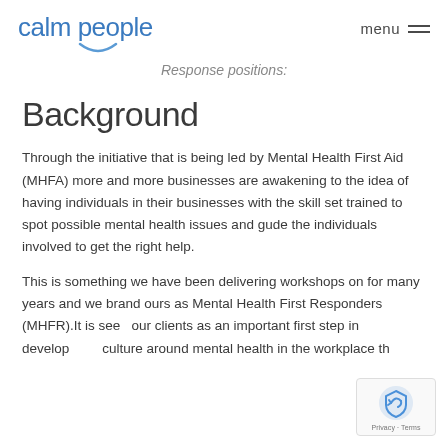calm people  menu
Response positions:
Background
Through the initiative that is being led by Mental Health First Aid (MHFA) more and more businesses are awakening to the idea of having individuals in their businesses with the skill set trained to spot possible mental health issues and gude the individuals involved to get the right help.
This is something we have been delivering workshops on for many years and we brand ours as Mental Health First Responders (MHFR).It is seen our clients as an important first step in develop culture around mental health in the workplace that